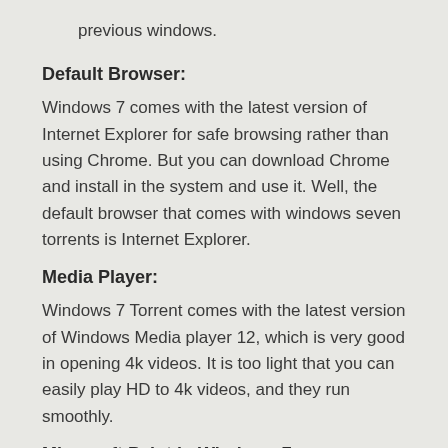previous windows.
Default Browser:
Windows 7 comes with the latest version of Internet Explorer for safe browsing rather than using Chrome. But you can download Chrome and install in the system and use it. Well, the default browser that comes with windows seven torrents is Internet Explorer.
Media Player:
Windows 7 Torrent comes with the latest version of Windows Media player 12, which is very good in opening 4k videos. It is too light that you can easily play HD to 4k videos, and they run smoothly.
Microsoft Paint in Windows 7: